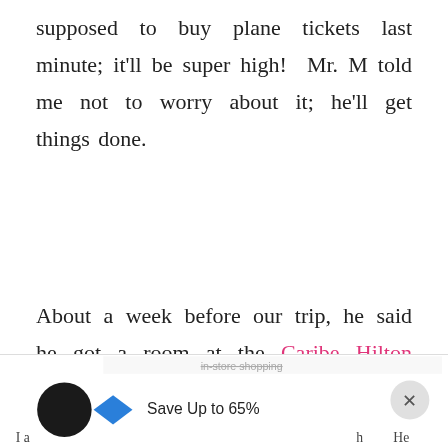supposed to buy plane tickets last minute; it'll be super high!  Mr. M told me not to worry about it; he'll get things done.
About a week before our trip, he said he got a room at the Caribe Hilton using one of his friend's Family and Friends discount and purchased the plane tickets.
[Figure (screenshot): UI overlay elements: heart/save button (blue circle), share button (blue circle), What's Next panel with thumbnail, and advertisement bar at bottom with 'Save Up to 65%' offer.]